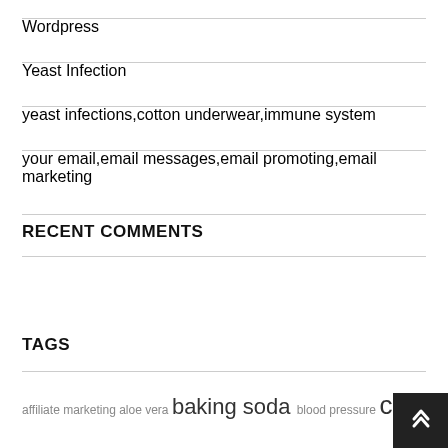Wordpress
Yeast Infection
yeast infections,cotton underwear,immune system
your email,email messages,email promoting,email marketing
RECENT COMMENTS
TAGS
affiliate marketing aloe vera baking soda blood pressure cell